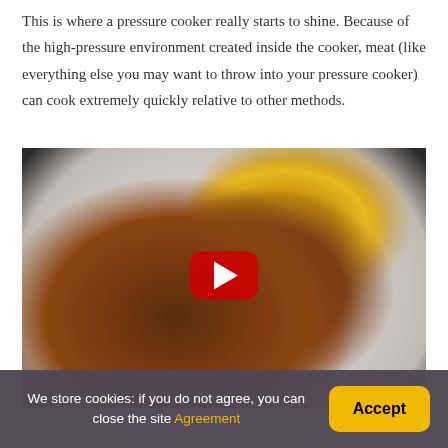This is where a pressure cooker really starts to shine. Because of the high-pressure environment created inside the cooker, meat (like everything else you may want to throw into your pressure cooker) can cook extremely quickly relative to other methods.
[Figure (photo): Photo of a plate of food showing meat with brown gravy and corn, with a YouTube play button overlay indicating it is an embedded video thumbnail.]
We store cookies: if you do not agree, you can close the site Agreement